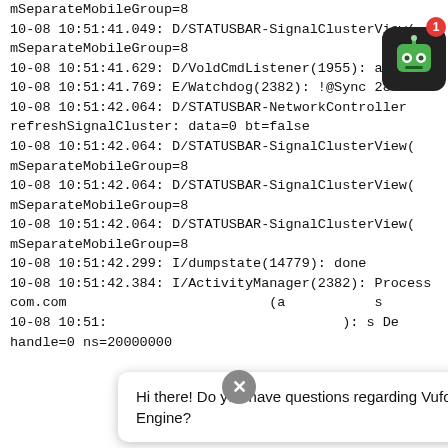mSeparateMobileGroup=8
10-08 10:51:41.049: D/STATUSBAR-SignalClusterView(
mSeparateMobileGroup=8
10-08 10:51:41.629: D/VoldCmdListener(1955): asec lis
10-08 10:51:41.769: E/Watchdog(2382): !@Sync 2835
10-08 10:51:42.064: D/STATUSBAR-NetworkController
refreshSignalCluster: data=0 bt=false
10-08 10:51:42.064: D/STATUSBAR-SignalClusterView(
mSeparateMobileGroup=8
10-08 10:51:42.064: D/STATUSBAR-SignalClusterView(
mSeparateMobileGroup=8
10-08 10:51:42.064: D/STATUSBAR-SignalClusterView(
mSeparateMobileGroup=8
10-08 10:51:42.299: I/dumpstate(14779): done
10-08 10:51:42.384: I/ActivityManager(2382): Process
com.com                                  (a           s
10-08 10:51:                                       ): s De
handle=0 ns=20000000
[Figure (screenshot): Chat popup overlay with robot chatbot icon saying 'Hi there! Do you have questions regarding Vuforia Engine?' with a close (X) button and a robot avatar icon with red badge showing '1']